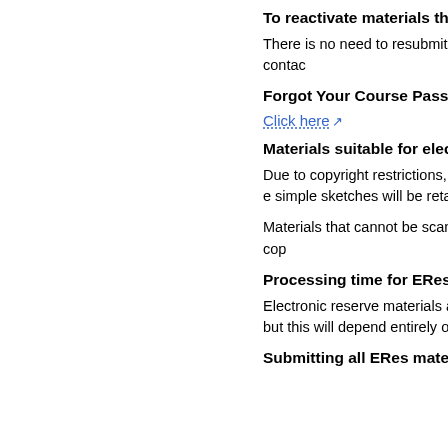To reactivate materials that w
There is no need to resubmit th two year period. Please contac
Forgot Your Course Passwor
Click here
Materials suitable for electro
Due to copyright restrictions, s entirety may not be placed on e simple sketches will be retaine reproduce electronically.
Materials that cannot be scann made to reference the hard cop
Processing time for EReserv
Electronic reserve materials ar materials to appear on your ele but this will depend entirely on
Submitting all ERes materia